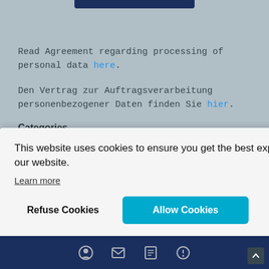Read Agreement regarding processing of personal data here.
Den Vertrag zur Auftragsverarbeitung personenbezogener Daten finden Sie hier.
Categories
This website uses cookies to ensure you get the best experience on our website.
Learn more
Refuse Cookies
Allow Cookies